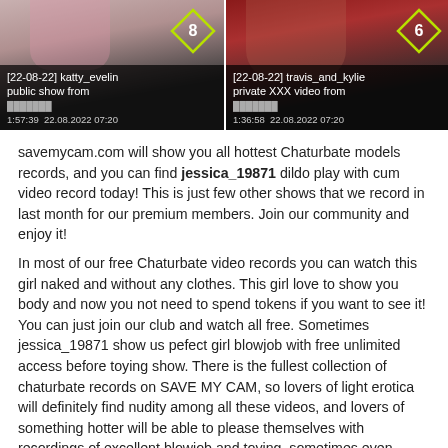[Figure (screenshot): Two video thumbnails side by side. Left: [22-08-22] katty_evelin public show, duration 1:57:39, date 22.08.2022 07:20, with a diamond badge showing 8. Right: [22-08-22] travis_and_kylie private XXX video, duration 1:36:58, date 22.08.2022 07:20, with a diamond badge showing 6.]
savemycam.com will show you all hottest Chaturbate models records, and you can find jessica_19871 dildo play with cum video record today! This is just few other shows that we record in last month for our premium members. Join our community and enjoy it!
In most of our free Chaturbate video records you can watch this girl naked and without any clothes. This girl love to show you body and now you not need to spend tokens if you want to see it! You can just join our club and watch all free. Sometimes jessica_19871 show us pefect girl blowjob with free unlimited access before toying show. There is the fullest collection of chaturbate records on SAVE MY CAM, so lovers of light erotica will definitely find nudity among all these videos, and lovers of something hotter will be able to please themselves with recordings of excellent blowjob and toying, sometimes even simultaneously.